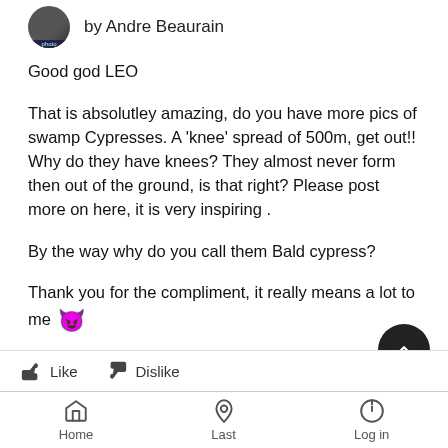by Andre Beaurain
Good god LEO
That is absolutley amazing, do you have more pics of swamp Cypresses. A 'knee' spread of 500m, get out!! Why do they have knees? They almost never form then out of the ground, is that right? Please post more on here, it is very inspiring .
By the way why do you call them Bald cypress?
Thank you for the compliment, it really means a lot to me 😈
Love and light.
And Thank you Gerhard, I think I forgot to thank you....
Home  Last  Log in